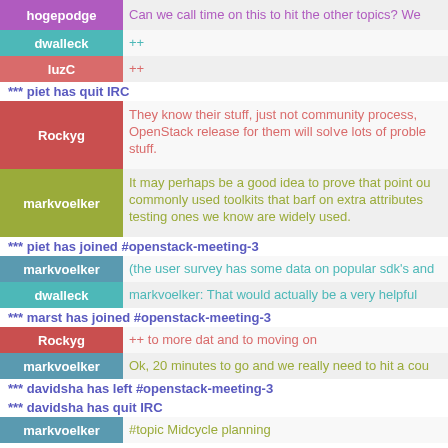hogepodge: Can we call time on this to hit the other topics? We
dwalleck: ++
luzC: ++
*** piet has quit IRC
Rockyg: They know their stuff, just not community process, OpenStack release for them will solve lots of proble stuff.
markvoelker: It may perhaps be a good idea to prove that point out commonly used toolkits that barf on extra attributes testing ones we know are widely used.
*** piet has joined #openstack-meeting-3
markvoelker: (the user survey has some data on popular sdk's and
dwalleck: markvoelker: That would actually be a very helpful
*** marst has joined #openstack-meeting-3
Rockyg: ++ to more dat and to moving on
markvoelker: Ok, 20 minutes to go and we really need to hit a cou
*** davidsha has left #openstack-meeting-3
*** davidsha has quit IRC
markvoelker: #topic Midcycle planning
*** openstack changes topic to "Midcycle planning (Meeting topic: defcore)"
catherineD: VanL: markvoelker: so the common rule (best pract understand" for interop puprpose